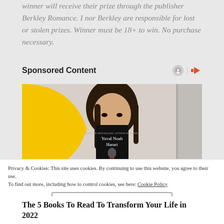winner will receive their prize through the publisher Berkley Romance. I nor Berkley are responsible for lost or stolen prizes. Winner must be 18+ to win. No purchase necessary.
Sponsored Content
[Figure (photo): Person holding a Yuval Noah Harari book in front of their face, with a yellow geometric background on the left side of the image.]
Privacy & Cookies: This site uses cookies. By continuing to use this website, you agree to their use.
To find out more, including how to control cookies, see here: Cookie Policy
Close and accept
The 5 Books To Read To Transform Your Life in 2022